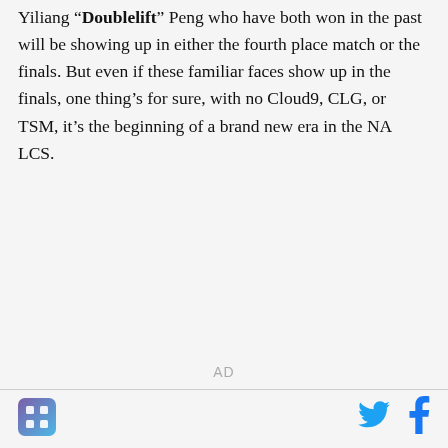Yiliang “Doublelift” Peng who have both won in the past will be showing up in either the fourth place match or the finals. But even if these familiar faces show up in the finals, one thing’s for sure, with no Cloud9, CLG, or TSM, it’s the beginning of a brand new era in the NA LCS.
AD
[Figure (logo): Small square logo with blue/purple gradient and a grid/dots icon]
[Figure (logo): Twitter bird icon in cyan/blue]
[Figure (logo): Facebook 'f' icon in dark blue]